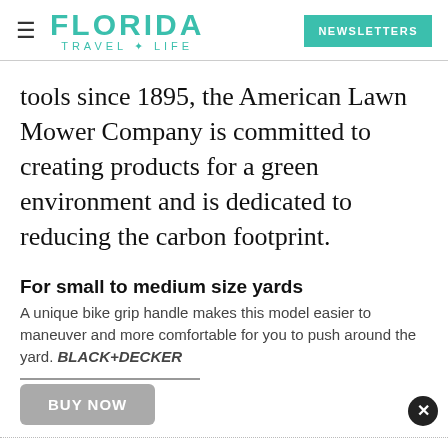FLORIDA TRAVEL + LIFE | NEWSLETTERS
tools since 1895, the American Lawn Mower Company is committed to creating products for a green environment and is dedicated to reducing the carbon footprint.
For small to medium size yards
A unique bike grip handle makes this model easier to maneuver and more comfortable for you to push around the yard. BLACK+DECKER
BUY NOW